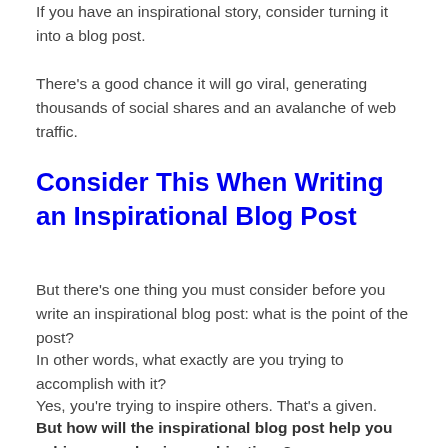If you have an inspirational story, consider turning it into a blog post.
There's a good chance it will go viral, generating thousands of social shares and an avalanche of web traffic.
Consider This When Writing an Inspirational Blog Post
But there's one thing you must consider before you write an inspirational blog post: what is the point of the post?
In other words, what exactly are you trying to accomplish with it?
Yes, you're trying to inspire others. That's a given.
But how will the inspirational blog post help you achieve your business objectives?